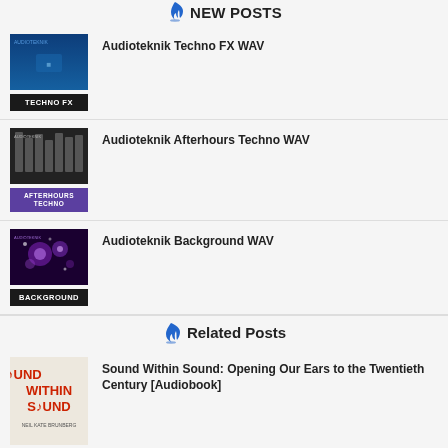New Posts
[Figure (illustration): Audioteknik Techno FX WAV album cover - blue gradient top, black label at bottom reading TECHNO FX]
Audioteknik Techno FX WAV
[Figure (illustration): Audioteknik Afterhours Techno WAV album cover - dark music equipment photo top, purple label at bottom reading AFTERHOURS TECHNO]
Audioteknik Afterhours Techno WAV
[Figure (illustration): Audioteknik Background WAV album cover - purple bokeh lights top, black label at bottom reading BACKGROUND]
Audioteknik Background WAV
Related Posts
[Figure (illustration): Sound Within Sound book cover - red text on light background]
Sound Within Sound: Opening Our Ears to the Twentieth Century [Audiobook]